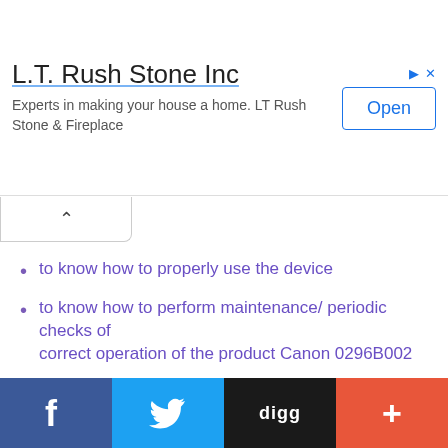[Figure (screenshot): Advertisement banner for L.T. Rush Stone Inc with company name, tagline, and Open button]
to know how to properly use the device
to know how to perform maintenance/ periodic checks of correct operation of the product Canon 0296B002
to know what to do in case of failure Canon 0296B002
[Figure (logo): Viber app logo on purple background — white outline of alien/planet character]
[Figure (screenshot): Social sharing bar with Facebook, Twitter, Digg, and plus buttons]